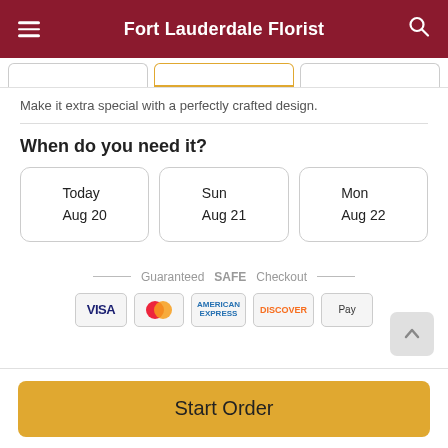Fort Lauderdale Florist
Make it extra special with a perfectly crafted design.
When do you need it?
Today
Aug 20
Sun
Aug 21
Mon
Aug 22
Guaranteed SAFE Checkout
[Figure (infographic): Payment method icons: VISA, Mastercard, American Express, Discover, Apple Pay]
Start Order